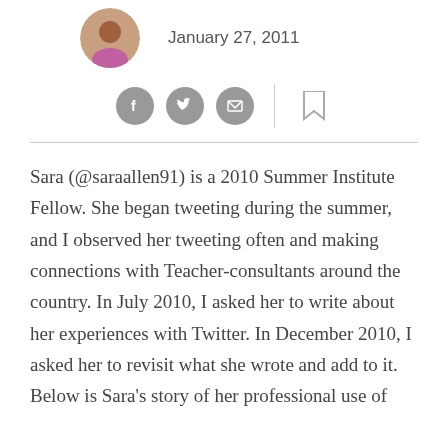January 27, 2011
[Figure (illustration): Social sharing icons: Facebook, Twitter, Email circles and a bookmark icon, with a vertical divider]
Sara (@saraallen91) is a 2010 Summer Institute Fellow. She began tweeting during the summer, and I observed her tweeting often and making connections with Teacher-consultants around the country. In July 2010, I asked her to write about her experiences with Twitter. In December 2010, I asked her to revisit what she wrote and add to it. Below is Sara's story of her professional use of